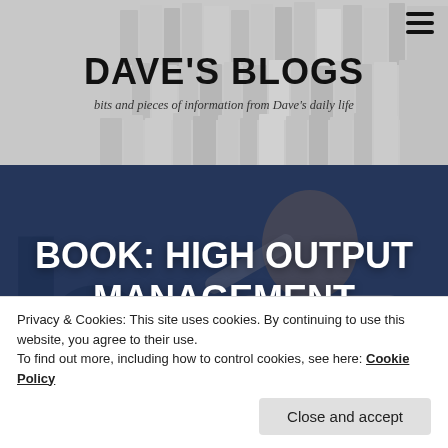[Figure (photo): Website header with stacked books background image, semi-transparent overlay, showing Dave's Blogs site header]
DAVE'S BLOGS
bits and pieces of information from Dave's daily life
[Figure (photo): Hero image showing a man in a blue shirt pointing upward against a dark blue background, for the post 'Book: High Output Management']
BOOK: HIGH OUTPUT MANAGEMENT
Privacy & Cookies: This site uses cookies. By continuing to use this website, you agree to their use.
To find out more, including how to control cookies, see here: Cookie Policy
Close and accept